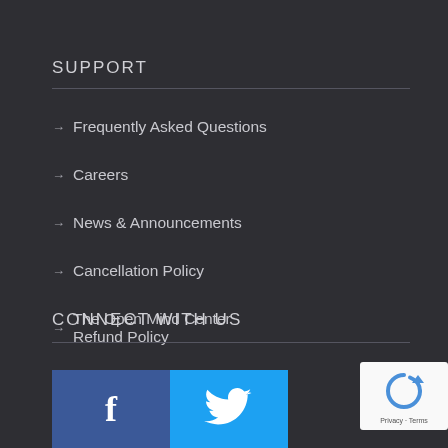SUPPORT
Frequently Asked Questions
Careers
News & Announcements
Cancellation Policy
The Open Mind Center Refund Policy
CONNECT WITH US
[Figure (logo): Facebook logo icon (white f on blue background) and Twitter bird icon (white on cyan background) side by side. A reCAPTCHA widget is visible in the bottom right.]